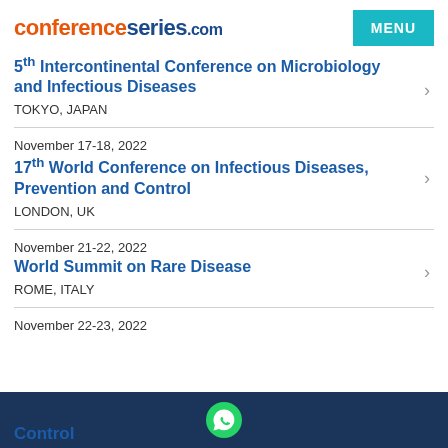conferenceseries.com
5th Intercontinental Conference on Microbiology and Infectious Diseases | TOKYO, JAPAN
November 17-18, 2022 | 17th World Conference on Infectious Diseases, Prevention and Control | LONDON, UK
November 21-22, 2022 | World Summit on Rare Disease | ROME, ITALY
November 22-23, 2022
Control